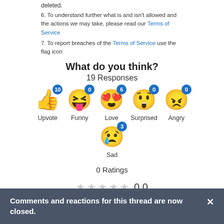deleted.
6. To understand further what is and isn't allowed and the actions we may take, please read our Terms of Service
7. To report breaches of the Terms of Service use the flag icon
What do you think?
19 Responses
[Figure (infographic): Emoji reaction buttons showing: Upvote (10), Funny (0), Love (6), Surprised (0), Angry (0), Sad (3)]
0 Ratings
[Figure (infographic): Star rating row showing 5 empty stars and value 0.0]
Comments and reactions for this thread are now closed.